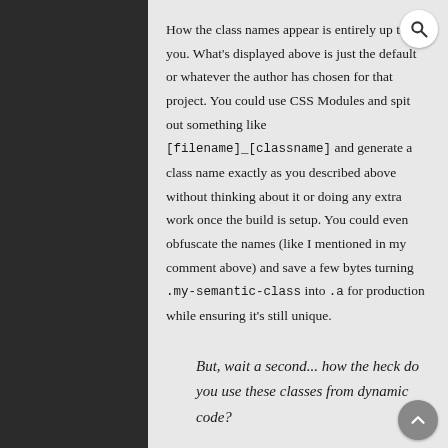How the class names appear is entirely up to you. What's displayed above is just the default or whatever the author has chosen for that project. You could use CSS Modules and spit out something like [filename]_[classname] and generate a class name exactly as you described above without thinking about it or doing any extra work once the build is setup. You could even obfuscate the names (like I mentioned in my comment above) and save a few bytes turning .my-semantic-class into .a for production while ensuring it's still unique.
But, wait a second... how the heck do you use these classes from dynamic code?